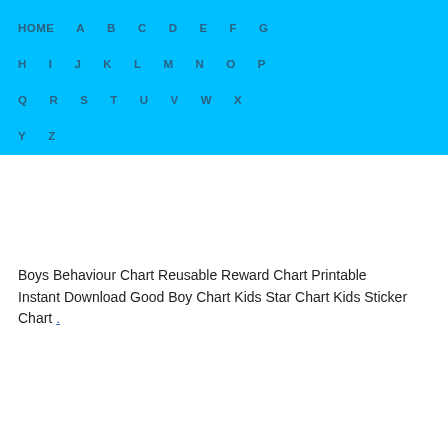HOME A B C D E F G H I J K L M N O P Q R S T U V W X Y Z
Boys Behaviour Chart Reusable Reward Chart Printable Instant Download Good Boy Chart Kids Star Chart Kids Sticker Chart .